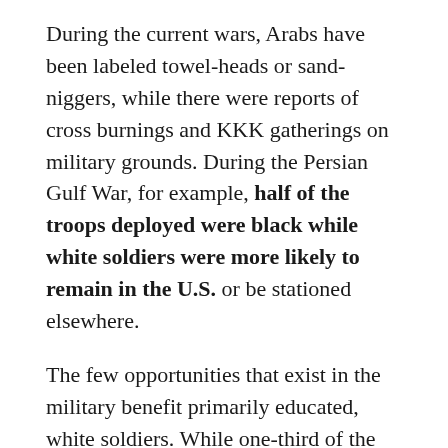During the current wars, Arabs have been labeled towel-heads or sand-niggers, while there were reports of cross burnings and KKK gatherings on military grounds. During the Persian Gulf War, for example, half of the troops deployed were black while white soldiers were more likely to remain in the U.S. or be stationed elsewhere.
The few opportunities that exist in the military benefit primarily educated, white soldiers. While one-third of the enlistees are people of color, only 11 percent of the officers are. Non-white enlistees tend to get low skill, combat-related jobs. Disproportionate numbers of African-Americans and Latinos face courts martial and receive bad discharges. One out of three black GIs will get a